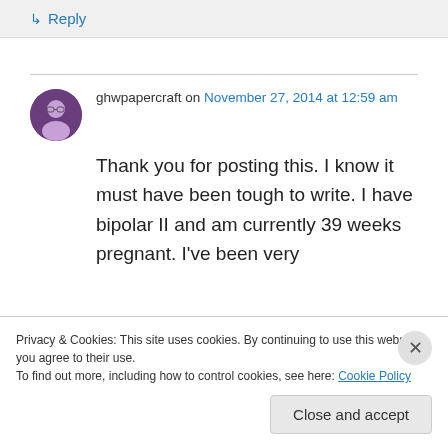↳ Reply
ghwpapercraft on November 27, 2014 at 12:59 am
Thank you for posting this. I know it must have been tough to write. I have bipolar II and am currently 39 weeks pregnant. I've been very
Privacy & Cookies: This site uses cookies. By continuing to use this website, you agree to their use.
To find out more, including how to control cookies, see here: Cookie Policy
Close and accept